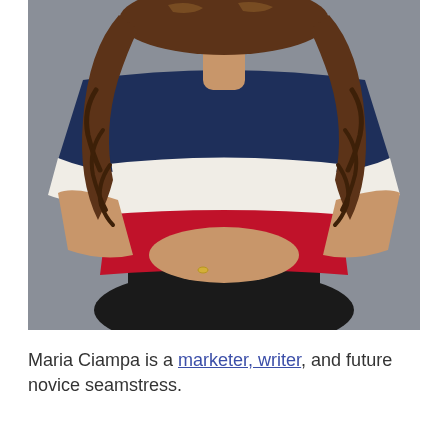[Figure (photo): Professional headshot/portrait photo of Maria Ciampa, a woman with long curly brown hair, wearing a navy blue, white, and red striped short-sleeve shirt, sitting with hands clasped on her knees, against a gray background.]
Maria Ciampa is a marketer, writer, and future novice seamstress.